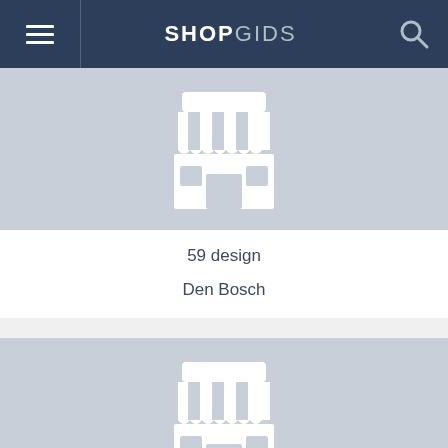SHOPGIDS
[Figure (illustration): Store/shop icon — white storefront with awning stripes on grey background]
59 design
Den Bosch
[Figure (illustration): Store/shop icon — white storefront with awning stripes on grey background]
De Verwondering